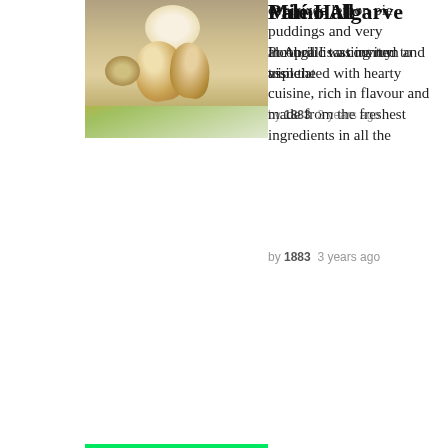oversized lemon pie puddings and very alcoholic tasting rum and triple
by 1883  3 years ago
[Figure (photo): Close-up photo of a dish with egg yolk, white sauce, and green herbs, with a green bar at the bottom]
Mimo Algarve
Portugal is a country associated with hearty cuisine, rich in flavour and made from the freshest ingredients in all the
by 1883  3 years ago
[Figure (photo): Photo of decorative seashells and a white rounded object arranged together]
Palé Hall
In April I was invited to visit the